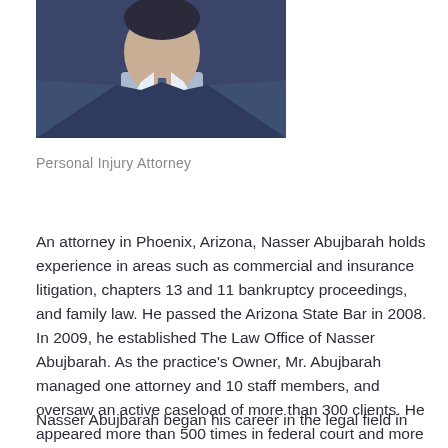[Figure (photo): Portrait photo of Nasser Abujbarah in a dark navy suit with a patterned tie against a light background]
Personal Injury Attorney
An attorney in Phoenix, Arizona, Nasser Abujbarah holds experience in areas such as commercial and insurance litigation, chapters 13 and 11 bankruptcy proceedings, and family law. He passed the Arizona State Bar in 2008. In 2009, he established The Law Office of Nasser Abujbarah. As the practice's Owner, Mr. Abujbarah managed one attorney and 10 staff members, and oversaw an active caseload of more than 300 clients. He appeared more than 500 times in federal court and more than 100 times in state court.
Nasser Abujbarah began his career in the legal field in